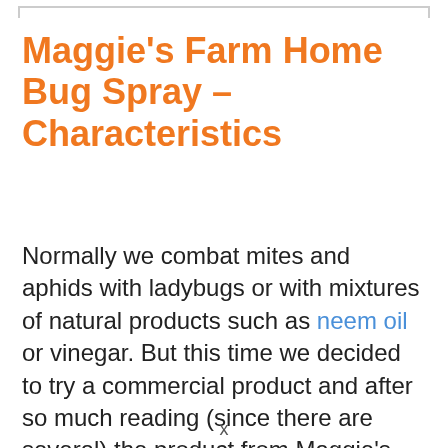Maggie's Farm Home Bug Spray – Characteristics
Normally we combat mites and aphids with ladybugs or with mixtures of natural products such as neem oil or vinegar. But this time we decided to try a commercial product and after so much reading (since there are several) the product from Maggie's Farm we were convinced by its ingredients, which are as follows